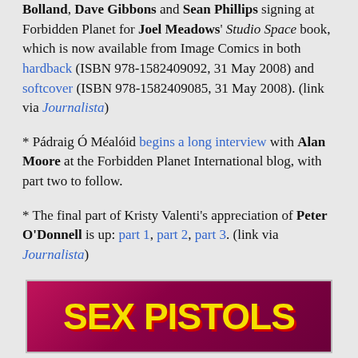Bolland, Dave Gibbons and Sean Phillips signing at Forbidden Planet for Joel Meadows' Studio Space book, which is now available from Image Comics in both hardback (ISBN 978-1582409092, 31 May 2008) and softcover (ISBN 978-1582409085, 31 May 2008). (link via Journalista)
* Pádraig Ó Méalóid begins a long interview with Alan Moore at the Forbidden Planet International blog, with part two to follow.
* The final part of Kristy Valenti's appreciation of Peter O'Donnell is up: part 1, part 2, part 3. (link via Journalista)
[Figure (photo): Sex Pistols logo/title image with yellow text on dark pink/magenta background]